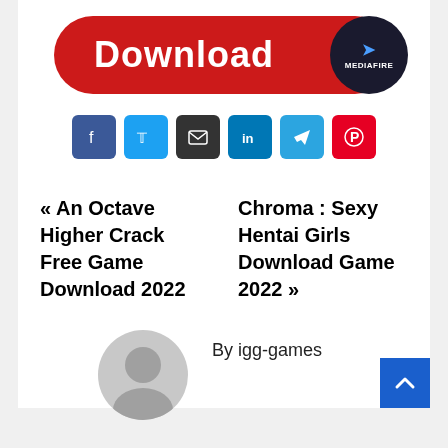[Figure (logo): Download button with MediaFire logo — red pill-shaped button with white bold 'Download' text and a dark circular MediaFire badge on the right]
[Figure (infographic): Row of 6 social share buttons: Facebook (blue), Twitter (light blue), Email (dark), LinkedIn (blue), Telegram (blue), Pinterest (red)]
« An Octave Higher Crack Free Game Download 2022
Chroma : Sexy Hentai Girls Download Game 2022 »
By igg-games
[Figure (illustration): Grey circular avatar placeholder with a silhouette person icon]
[Figure (other): Blue scroll-to-top button with upward caret arrow in bottom-right corner]